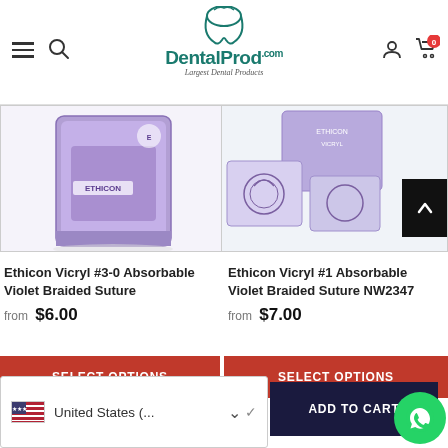DentalProd.com — Largest Dental Products
[Figure (photo): Ethicon Vicryl purple suture dispenser box (left product image)]
[Figure (photo): Ethicon Vicryl suture package and needles (right product image)]
Ethicon Vicryl #3-0 Absorbable Violet Braided Suture
from $6.00
SELECT OPTIONS
Ethicon Vicryl #1 Absorbable Violet Braided Suture NW2347
from $7.00
SELECT OPTIONS
United States (...
ADD TO CART